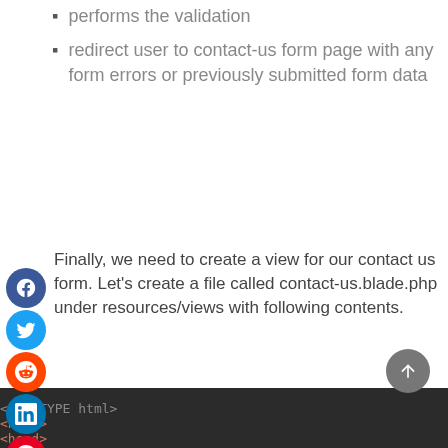performs the validation
redirect user to contact-us form page with any form errors or previously submitted form data
Finally, we need to create a view for our contact us form. Let's create a file called contact-us.blade.php under resources/views with following contents.
[Figure (screenshot): Code block showing HTML structure: <!DOCTYPE html>, <html>, <head>, <meta name='viewport' content='width=devic...>, <style>, body {font-family: Arial, Helvetica,}, * {box-sizing: border-box;}, input[type=text], textarea {, width: 100%;]